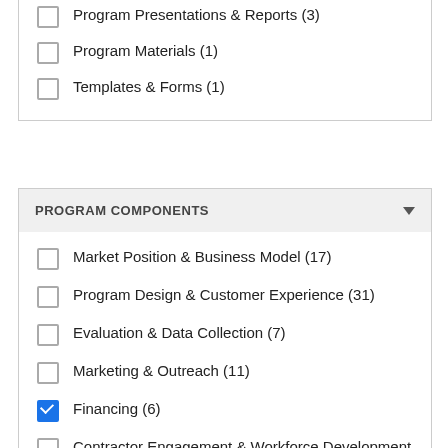Program Presentations & Reports (3)
Program Materials (1)
Templates & Forms (1)
PROGRAM COMPONENTS
Market Position & Business Model (17)
Program Design & Customer Experience (31)
Evaluation & Data Collection (7)
Marketing & Outreach (11)
Financing (6)
Contractor Engagement & Workforce Development (3)